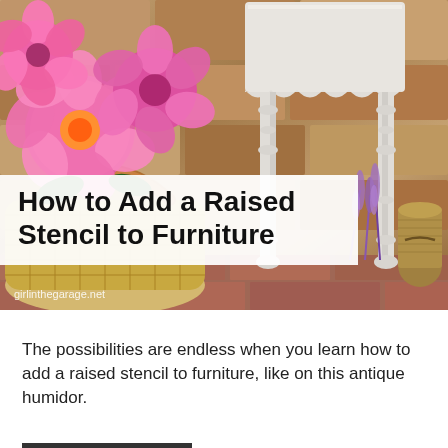[Figure (photo): A white painted antique side table with ornate legs photographed outdoors against a stone wall, with a woven straw basket filled with bright pink flowers (peonies) on the left, lavender sprigs leaning against the table, and a roll of burlap twine on the right. Watermark reads 'girlinthegarage.net'.]
How to Add a Raised Stencil to Furniture
The possibilities are endless when you learn how to add a raised stencil to furniture, like on this antique humidor.